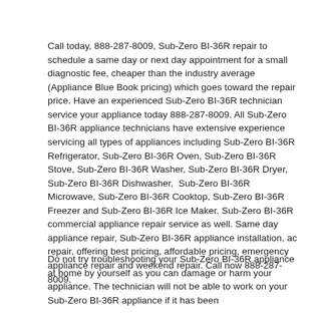Call today, 888-287-8009, Sub-Zero BI-36R repair to schedule a same day or next day appointment for a small diagnostic fee, cheaper than the industry average (Appliance Blue Book pricing) which goes toward the repair price. Have an experienced Sub-Zero BI-36R technician service your appliance today 888-287-8009. All Sub-Zero BI-36R appliance technicians have extensive experience servicing all types of appliances including Sub-Zero BI-36R  Refrigerator, Sub-Zero BI-36R Oven, Sub-Zero BI-36R Stove, Sub-Zero BI-36R Washer, Sub-Zero BI-36R Dryer, Sub-Zero BI-36R Dishwasher,  Sub-Zero BI-36R  Microwave, Sub-Zero BI-36R Cooktop, Sub-Zero BI-36R Freezer and Sub-Zero BI-36R Ice Maker. Sub-Zero BI-36R commercial appliance repair service as well. Same day appliance repair, Sub-Zero BI-36R appliance installation, ac repair, offering best pricing, affordable pricing, emergency appliance repair and weekend repair. Call now 888-287-8009.
Do not try troubleshooting your Sub-Zero BI-36R appliance at home by yourself as you can damage or harm your appliance. The technician will not be able to work on your Sub-Zero BI-36R appliance if it has been